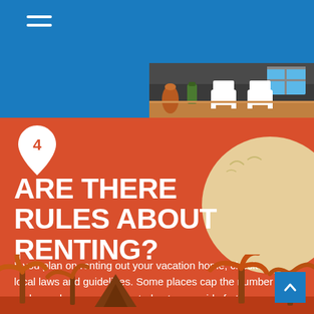[Figure (infographic): Blue header bar with hamburger menu icon (three white horizontal lines) at top left. A house porch illustration visible at top right showing decorative vases, white chairs, and a house facade. Below is a large red/orange panel featuring a location pin icon with number 4, bold white heading 'ARE THERE RULES ABOUT RENTING?', body text, a cream-colored sun circle decoration on the right, and palm tree silhouettes at the bottom. A blue scroll-up button is at bottom right.]
ARE THERE RULES ABOUT RENTING?
If you plan on renting out your vacation home, check local laws and guidelines. Some places cap the number of days a home can be rented out or provide further restrictions on renting to vacationers.